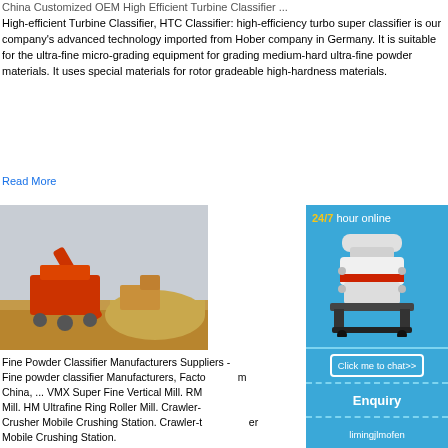China Customized OEM High Efficient Turbine Classifier ...
High-efficient Turbine Classifier, HTC Classifier: high-efficiency turbo super classifier is our company's advanced technology imported from Hober company in Germany. It is suitable for the ultra-fine micro-grading equipment for grading medium-hard ultra-fine powder materials. It uses special materials for rotor gradeable high-hardness materials.
Read More
[Figure (photo): Photo of industrial fine powder classifier / mobile crushing station equipment in outdoor setting with sandy terrain]
[Figure (infographic): Blue sidebar advertisement: '24/7 hour online' with image of cone crusher machine, 'Click me to chat>>' button, 'Enquiry' section, and 'limingjlmofen' username]
Fine Powder Classifier Manufacturers Suppliers - Fine powder classifier Manufacturers, Factories from China, ... VMX Super Fine Vertical Mill. RM Mill. HM Ultrafine Ring Roller Mill. Crawler-type Crusher Mobile Crushing Station. Crawler-type Mobile Crushing Station.